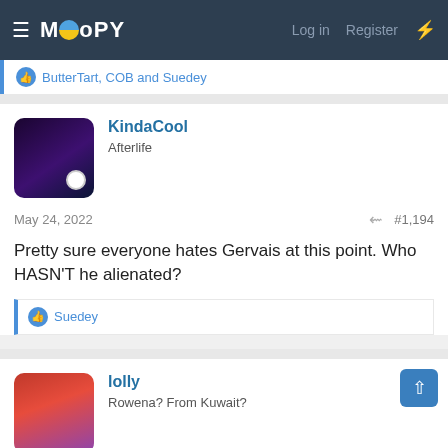MOOPY — Log in  Register
ButterTart, COB and Suedey
KindaCool
Afterlife
May 24, 2022  #1,194
Pretty sure everyone hates Gervais at this point. Who HASN'T he alienated?
Suedey
lolly
Rowena? From Kuwait?
May 24, 2022  #1,195